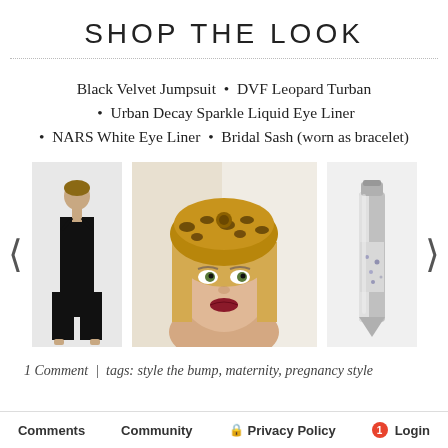SHOP THE LOOK
Black Velvet Jumpsuit  •  DVF Leopard Turban  •  Urban Decay Sparkle Liquid Eye Liner  •  NARS White Eye Liner  •  Bridal Sash (worn as bracelet)
[Figure (photo): Three product images: a black velvet jumpsuit, a DVF leopard print turban worn by a blonde woman, and a sparkle liquid eyeliner tube. Navigation arrows on left and right sides.]
1 Comment  |  tags: style the bump, maternity, pregnancy style
Comments    Community    Privacy Policy    Login